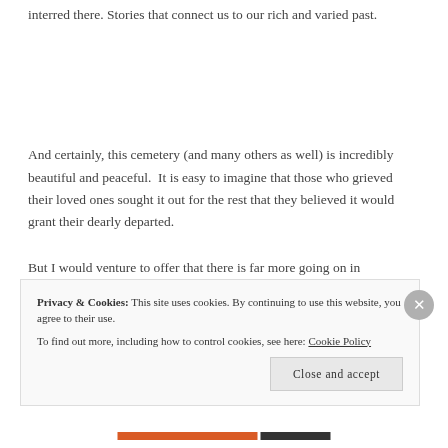interred there. Stories that connect us to our rich and varied past.
And certainly, this cemetery (and many others as well) is incredibly beautiful and peaceful. It is easy to imagine that those who grieved their loved ones sought it out for the rest that they believed it would grant their dearly departed.
But I would venture to offer that there is far more going on in
Privacy & Cookies: This site uses cookies. By continuing to use this website, you agree to their use. To find out more, including how to control cookies, see here: Cookie Policy
Close and accept